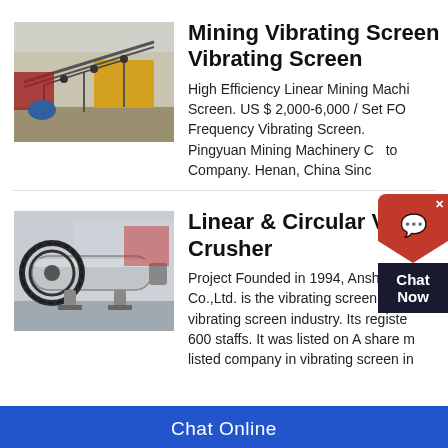[Figure (photo): Outdoor mining vibrating screen equipment with conveyor structure and yellow machinery in background]
Mining Vibrating Screen Vibrating Screen
High Efficiency Linear Mining Machine Vibrating Screen. US $ 2,000-6,000 / Set FOB Frequency Vibrating Screen. Pingyuan Mining Machinery Co to Company. Henan, China Sinc
[Figure (photo): Industrial ball mill / circular vibrating crusher equipment, large cylindrical grey machine with gear wheel]
Linear & Circular Vibrating Crusher
Project Founded in 1994, Anshan H Co.,Ltd. is the vibrating screen base vibrating screen industry. Its registe 600 staffs. It was listed on A share m listed company in vibrating screen in
Chat Online